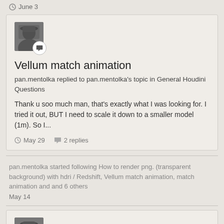June 3
[Figure (photo): User avatar photo of pan.mentolka with chat bubble badge icon]
Vellum match animation
pan.mentolka replied to pan.mentolka's topic in General Houdini Questions
Thank u soo much man, that's exactly what I was looking for. I tried it out, BUT I need to scale it down to a smaller model (1m). So I...
May 29   2 replies
pan.mentolka started following How to render png. (transparent background) with hdri / Redshift, Vellum match animation, match animation and and 6 others
May 14
[Figure (photo): User avatar photo of pan.mentolka with chat bubble badge icon]
Vellum match animation
pan.mentolka posted a topic in General Houdini Questions